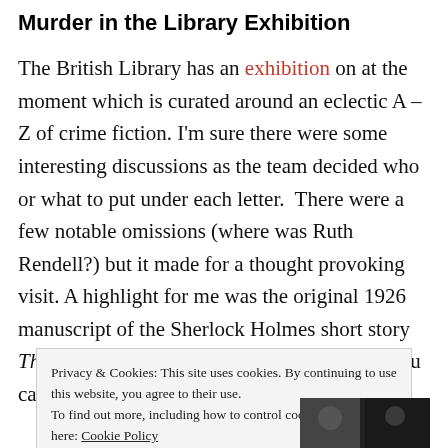Murder in the Library Exhibition
The British Library has an exhibition on at the moment which is curated around an eclectic A – Z of crime fiction. I'm sure there were some interesting discussions as the team decided who or what to put under each letter. There were a few notable omissions (where was Ruth Rendell?) but it made for a thought provoking visit. A highlight for me was the original 1926 manuscript of the Sherlock Holmes short story The Adventure of the Retired Colourman. If you can get
Privacy & Cookies: This site uses cookies. By continuing to use this website, you agree to their use.
To find out more, including how to control cookies, see here: Cookie Policy
Close and accept
[Figure (photo): Partial photo strip visible at bottom right of page]